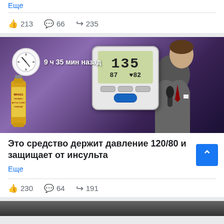Еще
213  66  235
[Figure (photo): Thumbnail image showing a man in a suit holding a microphone, a blood pressure monitor, an apple cider vinegar bottle, and a clock overlay with text '9 ч 35 мин назад']
Это средство держит давление 120/80 и защищает от инсульта
Еще
230  64  191